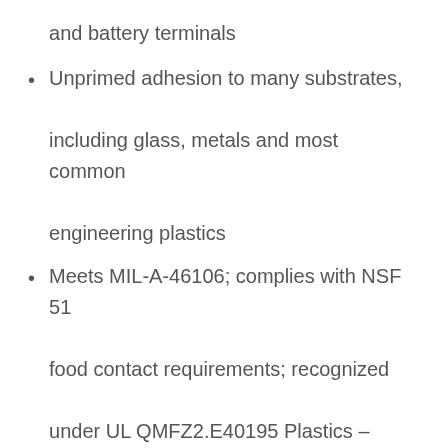and battery terminals
Unprimed adhesion to many substrates, including glass, metals and most common engineering plastics
Meets MIL-A-46106; complies with NSF 51 food contact requirements; recognized under UL QMFZ2.E40195 Plastics – Component
DOWSIL™ 786 Silicone Sealant – M
Mildew- and moisture-resistant sealant for sealing nonporous surfaces, showers, tubs